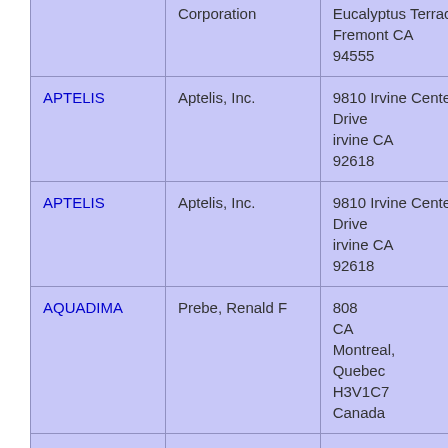| Mark | Owner | Address | Description |
| --- | --- | --- | --- |
|  | Corporation | Eucalyptus Terrace Fremont CA 94555 | service (ASP), comput |
| APTELIS | Aptelis, Inc. | 9810 Irvine Center Drive irvine CA 92618 | Advisory services field of A |
| APTELIS | Aptelis, Inc. | 9810 Irvine Center Drive irvine CA 92618 | Advisory services field of A |
| AQUADIMA | Prebe, Renald F | 808 CA Montreal, Quebec H3V1C7 Canada | Application service featuring applicat program |
| AQUAYIELD | BFP | 4219 Abinadi | Treatme |